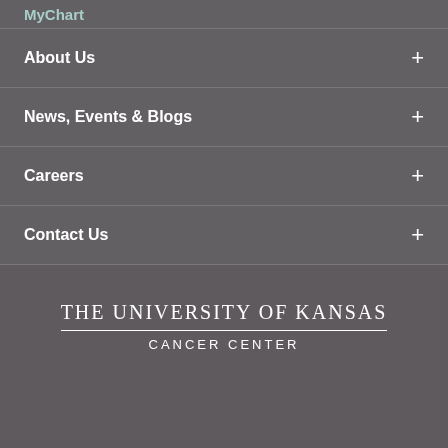MyChart
About Us
News, Events & Blogs
Careers
Contact Us
[Figure (logo): The University of Kansas Cancer Center logo with social media icons below (Facebook, Twitter, LinkedIn, Instagram, YouTube)]